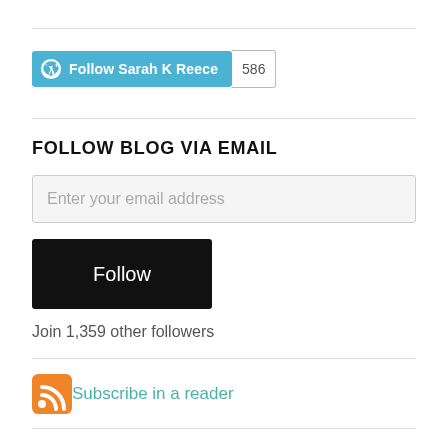[Figure (other): WordPress Follow button for Sarah K Reece blog with follower count badge showing 586]
FOLLOW BLOG VIA EMAIL
Enter your email address
Follow
Join 1,359 other followers
[Figure (other): RSS feed icon (orange square with white wifi-style signal symbol) followed by Subscribe in a reader link]